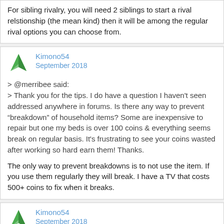For sibling rivalry, you will need 2 siblings to start a rival relstionship (the mean kind) then it will be among the regular rival options you can choose from.
Kimono54
September 2018
> @merribee said:
> Thank you for the tips. I do have a question I haven't seen addressed anywhere in forums. Is there any way to prevent “breakdown” of household items? Some are inexpensive to repair but one my beds is over 100 coins & everything seems break on regular basis. It's frustrating to see your coins wasted after working so hard earn them! Thanks.
The only way to prevent breakdowns is to not use the item. If you use them regularly they will break. I have a TV that costs 500+ coins to fix when it breaks.
Kimono54
September 2018